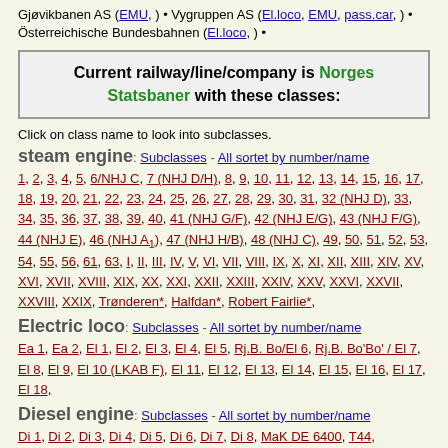Gjøvikbanen AS (EMU, ) • Vygruppen AS (El.loco, EMU, pass.car, ) • Österreichische Bundesbahnen (El.loco, ) •
Current railway/line/company is Norges Statsbaner with these classes:
Click on class name to look into subclasses.
steam engine: Subclasses - All sortet by number/name
1, 2, 3, 4, 5, 6/NHJ C, 7 (NHJ D/H), 8, 9, 10, 11, 12, 13, 14, 15, 16, 17, 18, 19, 20, 21, 22, 23, 24, 25, 26, 27, 28, 29, 30, 31, 32 (NHJ D), 33, 34, 35, 36, 37, 38, 39, 40, 41 (NHJ G/F), 42 (NHJ E/G), 43 (NHJ F/G), 44 (NHJ E), 46 (NHJ A1), 47 (NHJ H/B), 48 (NHJ C), 49, 50, 51, 52, 53, 54, 55, 56, 61, 63, I, II, III, IV, V, VI, VII, VIII, IX, X, XI, XII, XIII, XIV, XV, XVI, XVII, XVIII, XIX, XX, XXI, XXII, XXIII, XXIV, XXV, XXVI, XXVII, XXVIII, XXIX, Trønderen*, Halfdan*, Robert Fairlie*,
Electric loco: Subclasses - All sortet by number/name
Ea 1, Ea 2, El 1, El 2, El 3, El 4, El 5, Rj.B. Bo/El 6, Rj.B. Bo'Bo' / El 7, El 8, El 9, El 10 (LKAB F), El 11, El 12, El 13, El 14, El 15, El 16, El 17, El 18,
Diesel engine: Subclasses - All sortet by number/name
Di 1, Di 2, Di 3, Di 4, Di 5, Di 6, Di 7, Di 8, MaK DE 6400, T44,
Shunter: Subclasses - All sortet by number/name
Skb 201/Skd 206, Skb 202, Skb 203, Skb 204, Ska 205, Ska 207, Ska 208,